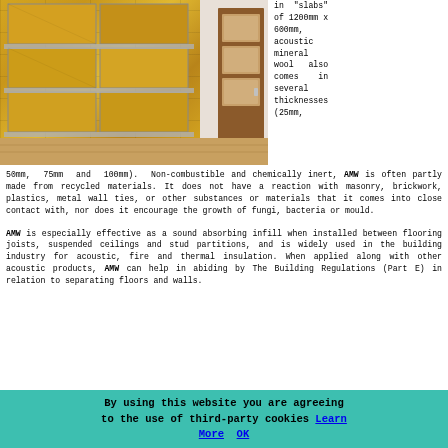[Figure (photo): Photo of a room interior with acoustic mineral wool panels installed on the left wall (golden/yellow color, rectangular panels in a grid), and a wooden door with frosted glass panels on the right side. Wooden floor visible.]
in "slabs" of 1200mm x 600mm, acoustic mineral wool also comes in several thicknesses (25mm, 50mm, 75mm and 100mm). Non-combustible and chemically inert, AMW is often partly made from recycled materials. It does not have a reaction with masonry, brickwork, plastics, metal wall ties, or other substances or materials that it comes into close contact with, nor does it encourage the growth of fungi, bacteria or mould.
AMW is especially effective as a sound absorbing infill when installed between flooring joists, suspended ceilings and stud partitions, and is widely used in the building industry for acoustic, fire and thermal insulation. When applied along with other acoustic products, AMW can help in abiding by The Building Regulations (Part E) in relation to separating floors and walls.
By using this website you are agreeing to the use of third-party cookies Learn More OK